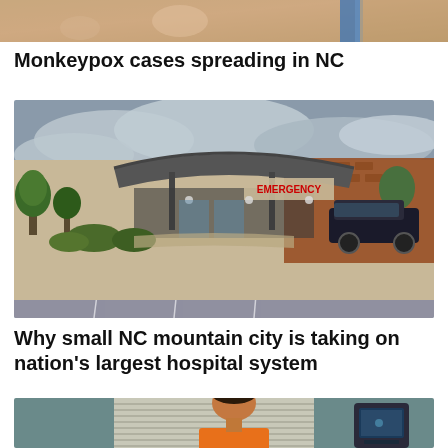[Figure (photo): Partial view of a person's skin, possibly showing a close-up view related to monkeypox, cropped at the top of the page]
Monkeypox cases spreading in NC
[Figure (photo): Photo of a hospital emergency entrance exterior — brick building with canopy over the entrance, parking lot in front, trees visible, cloudy sky, sign reads EMERGENCY]
Why small NC mountain city is taking on nation's largest hospital system
[Figure (photo): Photo of a person being interviewed or in a medical setting, partially cropped at the bottom of the page]